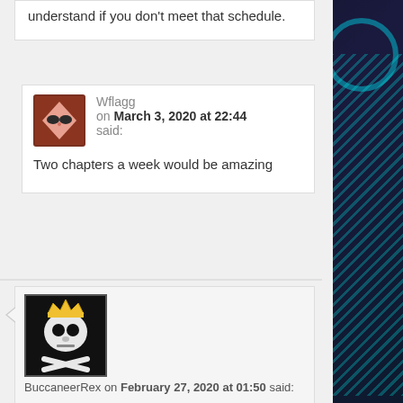understand if you don't meet that schedule.
Wflagg on March 3, 2020 at 22:44 said:
Two chapters a week would be amazing
[Figure (illustration): Avatar for Wflagg: diamond/rhombus shaped pink face with sunglasses on brown background]
[Figure (illustration): Avatar for BuccaneerRex: skull and crossbones with gold crown on black background]
BuccaneerRex on February 27, 2020 at 01:50 said: